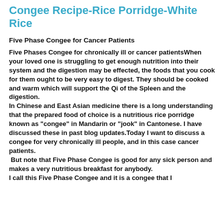Congee Recipe-Rice Porridge-White Rice
Five Phase Congee for Cancer Patients
Five Phases Congee for chronically ill or cancer patientsWhen your loved one is struggling to get enough nutrition into their system and the digestion may be effected, the foods that you cook for them ought to be very easy to digest. They should be cooked and warm which will support the Qi of the Spleen and the digestion.
In Chinese and East Asian medicine there is a long understanding that the prepared food of choice is a nutritious rice porridge known as "congee" in Mandarin or "jook" in Cantonese. I have discussed these in past blog updates.Today I want to discuss a congee for very chronically ill people, and in this case cancer patients. But note that Five Phase Congee is good for any sick person and makes a very nutritious breakfast for anybody.
I call this Five Phase Congee and it is a congee that I